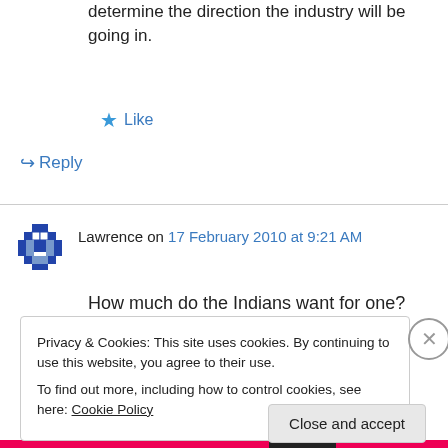determine the direction the industry will be going in.
★ Like
↪ Reply
Lawrence on 17 February 2010 at 9:21 AM
How much do the Indians want for one? According to
Click to access nuclear%20power-
Privacy & Cookies: This site uses cookies. By continuing to use this website, you agree to their use.
To find out more, including how to control cookies, see here: Cookie Policy
Close and accept